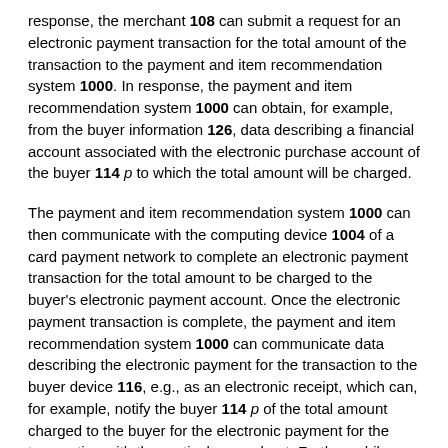response, the merchant 108 can submit a request for an electronic payment transaction for the total amount of the transaction to the payment and item recommendation system 1000. In response, the payment and item recommendation system 1000 can obtain, for example, from the buyer information 126, data describing a financial account associated with the electronic purchase account of the buyer 114 p to which the total amount will be charged.
The payment and item recommendation system 1000 can then communicate with the computing device 1004 of a card payment network to complete an electronic payment transaction for the total amount to be charged to the buyer's electronic payment account. Once the electronic payment transaction is complete, the payment and item recommendation system 1000 can communicate data describing the electronic payment for the transaction to the buyer device 116, e.g., as an electronic receipt, which can, for example, notify the buyer 114 p of the total amount charged to the buyer for the electronic payment for the transaction with the particular merchant. Further, while a mobile buyer device 116 is described in this example for